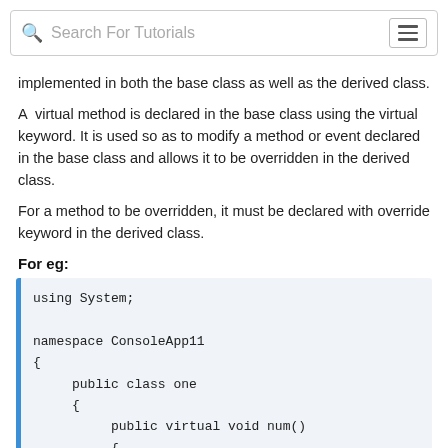Search For Tutorials
implemented in both the base class as well as the derived class.
A  virtual method is declared in the base class using the virtual keyword. It is used so as to modify a method or event declared in the base class and allows it to be overridden in the derived class.
For a method to be overridden, it must be declared with override keyword in the derived class.
For eg:
[Figure (screenshot): Code block showing C# code: using System; namespace ConsoleApp11 { public class one { public virtual void num() {]